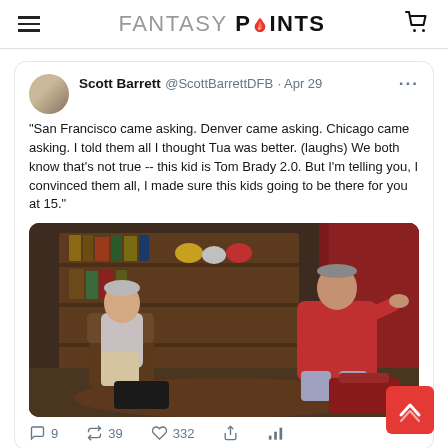FANTASY POINTS
[Figure (screenshot): Embedded tweet by Scott Barrett (@ScottBarrettDFB, Apr 29) with quote about Mac Jones and NFL draft, containing a photo of two men in an interview setting (one in white shirt, one in red jacket), with engagement counts: 9 replies, 39 retweets, 332 likes]
1A. People actually thought Mac Jones wouldn't beat out Cam Newton?